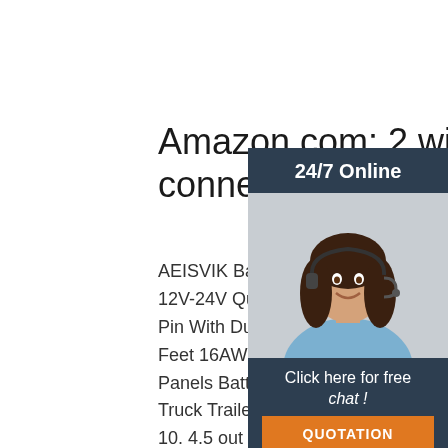Amazon.com: 2 wire trailer connector
AEISVIK Battery Charging Cables SAE TO 12V-24V Quick Disconnect Extension Cab Pin With Dust Cap DC Connection Cord P Feet 16AWG Gauge for Camp Trailer Sola Panels Battrey ... 2 Prong Pigtail Wire Plu Truck Trailer Side Marker Clearance Light 10. 4.5 out of 5 stars 22. $13.50 $ 13. 50. Fri, Nov 26 - Wed, Dec 1 ...
[Figure (photo): Woman with headset smiling, customer support representative photo]
24/7 Online
Click here for free chat !
QUOTATION
Get Price